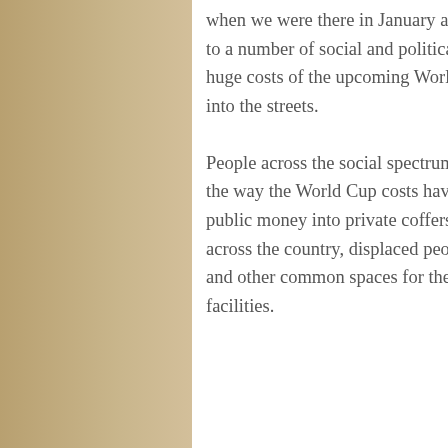when we were there in January and February in relation to a number of social and political issues including the huge costs of the upcoming World Cup has spilled out into the streets.
People across the social spectrum have got fed up with the way the World Cup costs have spiralled up, sucked public money into private coffers and at the same time, across the country, displaced people and destroyed parks and other common spaces for the building of new facilities.